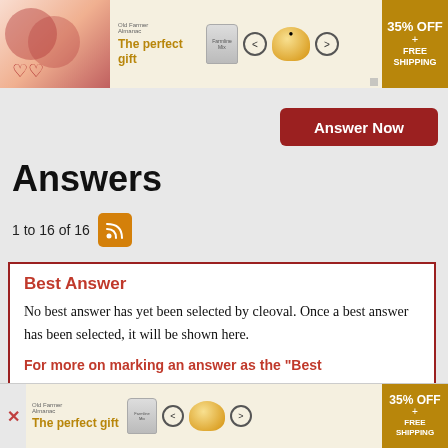[Figure (other): Top advertisement banner for 'The perfect gift' with 35% OFF + FREE SHIPPING offer, showing bowl image and navigation arrows]
Answer Now
Answers
1 to 16 of 16
Best Answer
No best answer has yet been selected by cleoval. Once a best answer has been selected, it will be shown here.
For more on marking an answer as the "Best Answer" please visit our FAQ
[Figure (other): Bottom advertisement banner for 'The perfect gift' with 35% OFF + FREE SHIPPING offer]